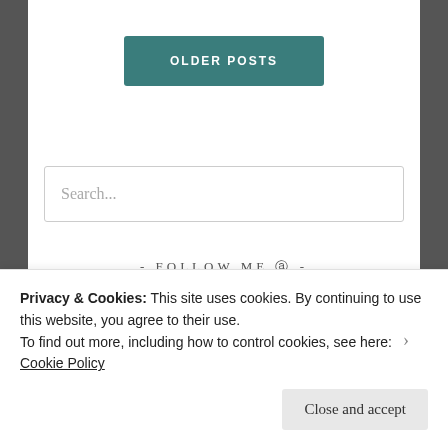OLDER POSTS
Search...
- FOLLOW ME @ -
Privacy & Cookies: This site uses cookies. By continuing to use this website, you agree to their use. To find out more, including how to control cookies, see here: Cookie Policy
Close and accept